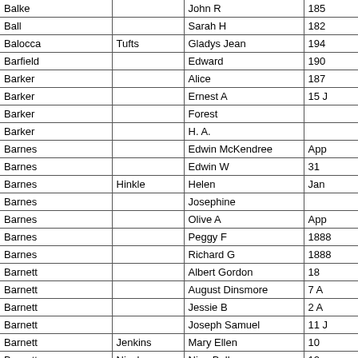| Last Name | Maiden Name | First Name | Date |
| --- | --- | --- | --- |
| Balke |  | John R | 185 |
| Ball |  | Sarah H | 182 |
| Balocca | Tufts | Gladys Jean | 194 |
| Barfield |  | Edward | 190 |
| Barker |  | Alice | 187 |
| Barker |  | Ernest A | 15 J |
| Barker |  | Forest |  |
| Barker |  | H. A. |  |
| Barnes |  | Edwin McKendree | App |
| Barnes |  | Edwin W | 31 |
| Barnes | Hinkle | Helen | Jan |
| Barnes |  | Josephine |  |
| Barnes |  | Olive A | App |
| Barnes |  | Peggy F | 1888 |
| Barnes |  | Richard G | 1888 |
| Barnett |  | Albert Gordon | 18 |
| Barnett |  | August Dinsmore | 7 A |
| Barnett |  | Jessie B | 2 A |
| Barnett |  | Joseph Samuel | 11 J |
| Barnett | Jenkins | Mary Ellen | 10 |
| Barnett | Nicolay | Nina Belle | 12 |
| Barnwell | Thornburgh | Beulah Faye | 193 |
| Barnwell |  | James E | 8 M |
| Barr |  | Daniel R | 11 |
| Barr | Jackson | Geraldine Kay | 194 |
| Barr | Eyman | Imogene | 18 |